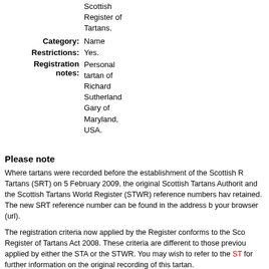| Category: | Name |
| Restrictions: | Yes. |
| Registration notes: | Personal tartan of Richard Sutherland Gary of Maryland, USA. |
Please note
Where tartans were recorded before the establishment of the Scottish Register of Tartans (SRT) on 5 February 2009, the original Scottish Tartans Authority and the Scottish Tartans World Register (STWR) reference numbers have been retained. The new SRT reference number can be found in the address bar of your browser (url).
The registration criteria now applied by the Register conforms to the Scottish Register of Tartans Act 2008. These criteria are different to those previously applied by either the STA or the STWR. You may wish to refer to the STA for further information on the original recording of this tartan.